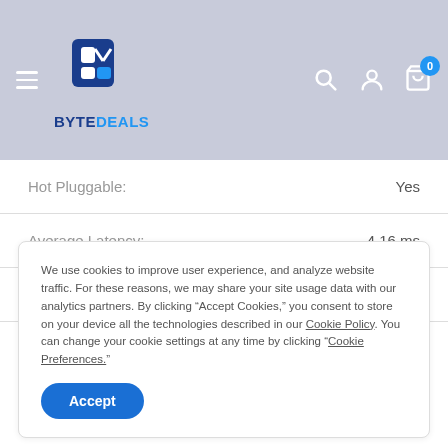[Figure (logo): ByteDeals logo with hamburger menu, search, account, and cart icons on a blue-grey header background]
| Hot Pluggable: | Yes |
| Average Latency: | 4.16 ms |
| Drive Interface: | SATA |
We use cookies to improve user experience, and analyze website traffic. For these reasons, we may share your site usage data with our analytics partners. By clicking “Accept Cookies,” you consent to store on your device all the technologies described in our Cookie Policy. You can change your cookie settings at any time by clicking “Cookie Preferences.”